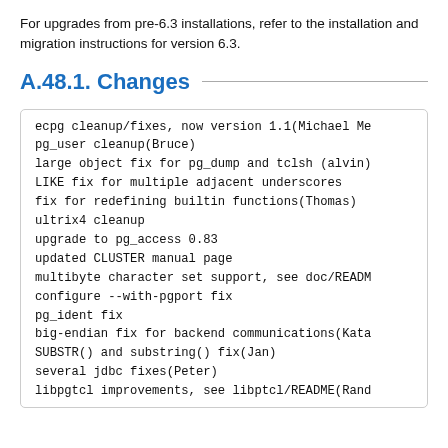For upgrades from pre-6.3 installations, refer to the installation and migration instructions for version 6.3.
A.48.1. Changes
ecpg cleanup/fixes, now version 1.1(Michael Me
pg_user cleanup(Bruce)
large object fix for pg_dump and tclsh (alvin)
LIKE fix for multiple adjacent underscores
fix for redefining builtin functions(Thomas)
ultrix4 cleanup
upgrade to pg_access 0.83
updated CLUSTER manual page
multibyte character set support, see doc/READM
configure --with-pgport fix
pg_ident fix
big-endian fix for backend communications(Kata
SUBSTR() and substring() fix(Jan)
several jdbc fixes(Peter)
libpgtcl improvements, see libptcl/README(Rand